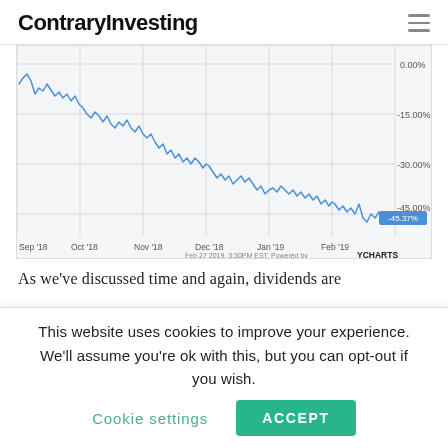ContraryInvesting
[Figure (continuous-plot): Line chart showing stock price percentage change from approximately Sep 2018 to Feb 2019. The line starts near 0.00% and trends downward overall to -45.37% by Feb 27 2019. Y-axis labels: 0.00%, -15.00%, -30.00%, -45.00%. X-axis labels: Sep '18, Oct '18, Nov '18, Dec '18, Jan '19, Feb '19. Watermark: 'Feb 27 2019, 3:30PM EST. Powered by YCHARTS'. Label on right end: -45.37%.]
As we've discussed time and again, dividends are
This website uses cookies to improve your experience. We'll assume you're ok with this, but you can opt-out if you wish. Cookie settings ACCEPT